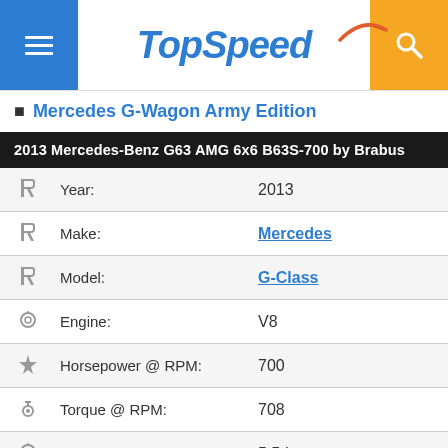TopSpeed
Mercedes G-Wagon Army Edition
| Icon | Attribute | Value |
| --- | --- | --- |
|  | Year: | 2013 |
|  | Make: | Mercedes |
|  | Model: | G-Class |
|  | Engine: | V8 |
|  | Horsepower @ RPM: | 700 |
|  | Torque @ RPM: | 708 |
|  | Displacement: | 5.5 L |
|  | 0-60 time: | 7.4 sec. (Est.) |
|  | Top Speed: | 100 mph |